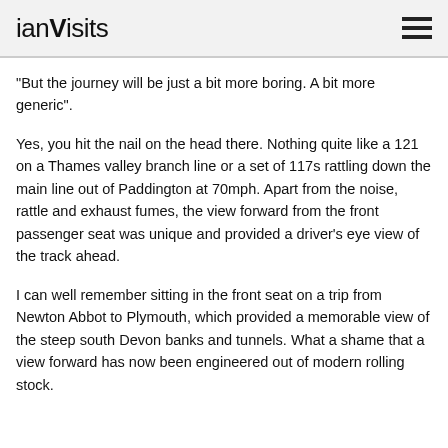ianVisits
“But the journey will be just a bit more boring. A bit more generic”.
Yes, you hit the nail on the head there. Nothing quite like a 121 on a Thames valley branch line or a set of 117s rattling down the main line out of Paddington at 70mph. Apart from the noise, rattle and exhaust fumes, the view forward from the front passenger seat was unique and provided a driver’s eye view of the track ahead.
I can well remember sitting in the front seat on a trip from Newton Abbot to Plymouth, which provided a memorable view of the steep south Devon banks and tunnels. What a shame that a view forward has now been engineered out of modern rolling stock.